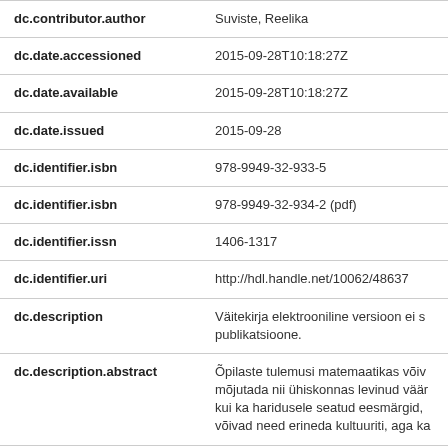| Field | Value |
| --- | --- |
| dc.contributor.author | Suviste, Reelika |
| dc.date.accessioned | 2015-09-28T10:18:27Z |
| dc.date.available | 2015-09-28T10:18:27Z |
| dc.date.issued | 2015-09-28 |
| dc.identifier.isbn | 978-9949-32-933-5 |
| dc.identifier.isbn | 978-9949-32-934-2 (pdf) |
| dc.identifier.issn | 1406-1317 |
| dc.identifier.uri | http://hdl.handle.net/10062/48637 |
| dc.description | Väitekirja elektrooniline versioon ei s publikatsioone. |
| dc.description.abstract | Õpilaste tulemusi matemaatikas võiv mõjutada nii ühiskonnas levinud väär kui ka haridusele seatud eesmärgid, võivad need erineda kultuuriti, aga ka |